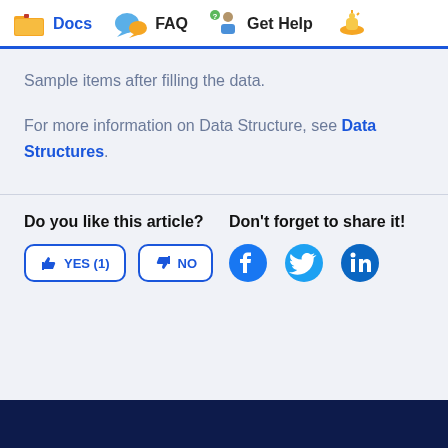Docs  FAQ  Get Help
Sample items after filling the data.
For more information on Data Structure, see Data Structures.
Do you like this article?
Don't forget to share it!